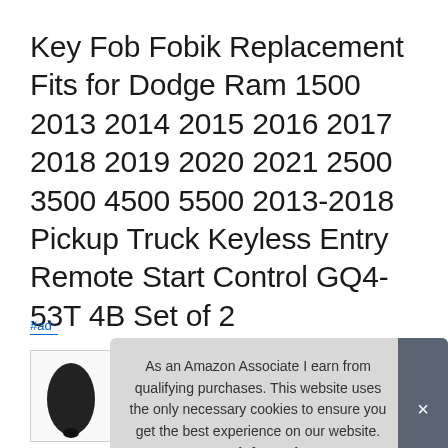Key Fob Fobik Replacement Fits for Dodge Ram 1500 2013 2014 2015 2016 2017 2018 2019 2020 2021 2500 3500 4500 5500 2013-2018 Pickup Truck Keyless Entry Remote Start Control GQ4-53T 4B Set of 2
#ad
As an Amazon Associate I earn from qualifying purchases. This website uses the only necessary cookies to ensure you get the best experience on our website. More information